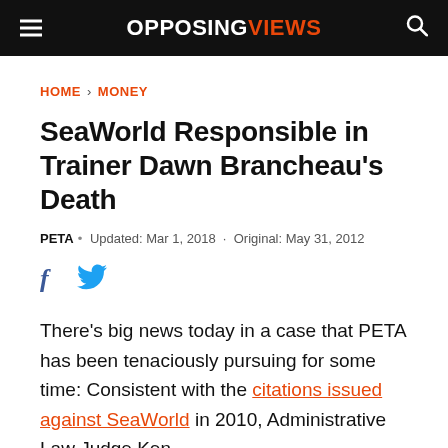OPPOSING VIEWS
HOME › MONEY
SeaWorld Responsible in Trainer Dawn Brancheau's Death
PETA • Updated: Mar 1, 2018 · Original: May 31, 2012
[Figure (other): Facebook and Twitter social share icons]
There's big news today in a case that PETA has been tenaciously pursuing for some time: Consistent with the citations issued against SeaWorld in 2010, Administrative Law Judge Ken